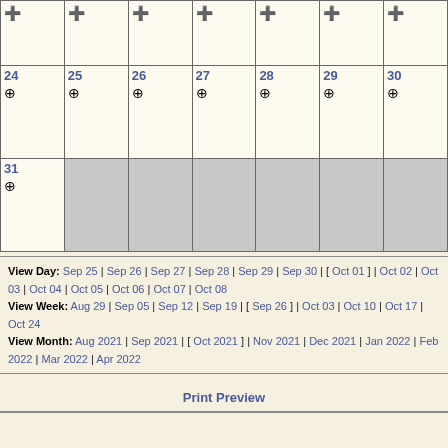|  |  |  |  |  |  |  |
| --- | --- | --- | --- | --- | --- | --- |
| (partial row top) |  |  |  |  |  |  |
| 24 | 25 | 26 | 27 | 28 | 29 | 30 |
| 31 | (gray) | (gray) | (gray) | (gray) | (gray) | (gray) |
View Day: Sep 25 | Sep 26 | Sep 27 | Sep 28 | Sep 29 | Sep 30 | [ Oct 01 ] | Oct 02 | Oct 03 | Oct 04 | Oct 05 | Oct 06 | Oct 07 | Oct 08
View Week: Aug 29 | Sep 05 | Sep 12 | Sep 19 | [ Sep 26 ] | Oct 03 | Oct 10 | Oct 17 | Oct 24
View Month: Aug 2021 | Sep 2021 | [ Oct 2021 ] | Nov 2021 | Dec 2021 | Jan 2022 | Feb 2022 | Mar 2022 | Apr 2022
Print Preview